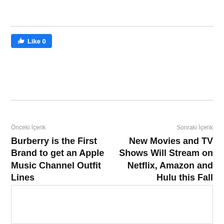[Figure (other): Facebook Like button showing '0' likes with thumbs up icon on blue background]
Önceki İçerik
Burberry is the First Brand to get an Apple Music Channel Outfit Lines
Sonraki İçerik
New Movies and TV Shows Will Stream on Netflix, Amazon and Hulu this Fall
[Figure (other): Empty white box with border at bottom of page]